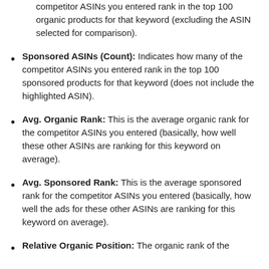competitor ASINs you entered rank in the top 100 organic products for that keyword (excluding the ASIN selected for comparison).
Sponsored ASINs (Count): Indicates how many of the competitor ASINs you entered rank in the top 100 sponsored products for that keyword (does not include the highlighted ASIN).
Avg. Organic Rank: This is the average organic rank for the competitor ASINs you entered (basically, how well these other ASINs are ranking for this keyword on average).
Avg. Sponsored Rank: This is the average sponsored rank for the competitor ASINs you entered (basically, how well the ads for these other ASINs are ranking for this keyword on average).
Relative Organic Position: The organic rank of the